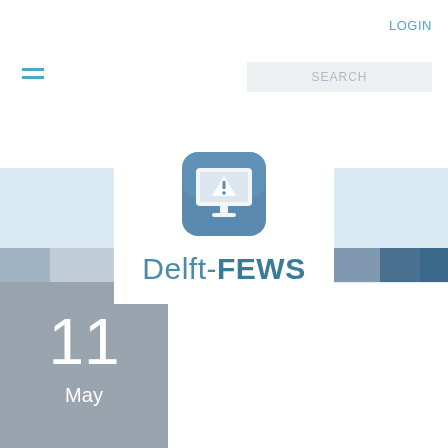LOGIN
[Figure (screenshot): Hamburger menu icon with two short blue horizontal lines]
[Figure (screenshot): Search bar with placeholder text SEARCH]
[Figure (logo): Delft-FEWS logo: a blue rounded-square icon with a monitor, flood warning triangle, and the text Delft-FEWS below]
11
May